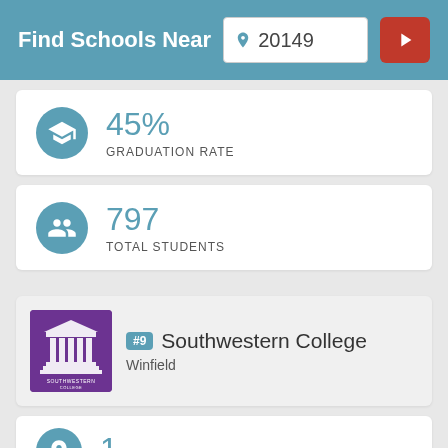Find Schools Near 20149
45% GRADUATION RATE
797 TOTAL STUDENTS
#9 Southwestern College, Winfield
1